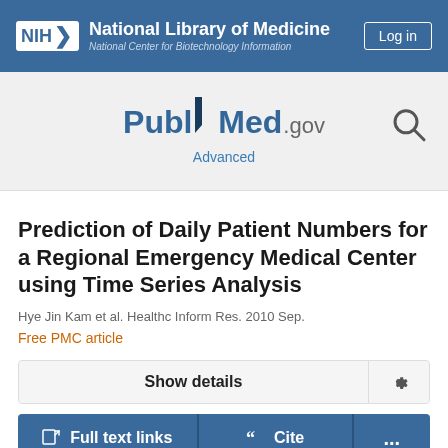NIH National Library of Medicine National Center for Biotechnology Information
[Figure (logo): PubMed.gov logo with search icon and Advanced link]
Prediction of Daily Patient Numbers for a Regional Emergency Medical Center using Time Series Analysis
Hye Jin Kam et al. Healthc Inform Res. 2010 Sep.
Free PMC article
Show details
Full text links
Cite